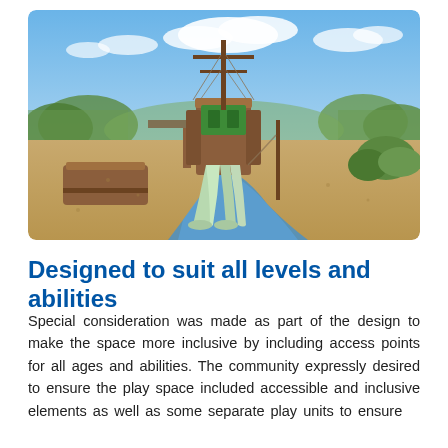[Figure (photo): Outdoor playground with a pirate ship-themed wooden climbing structure featuring green slides, surrounded by gravel and blue rubber pathway, with trees and blue sky in the background.]
Designed to suit all levels and abilities
Special consideration was made as part of the design to make the space more inclusive by including access points for all ages and abilities. The community expressly desired to ensure the play space included accessible and inclusive elements as well as some separate play units to ensure